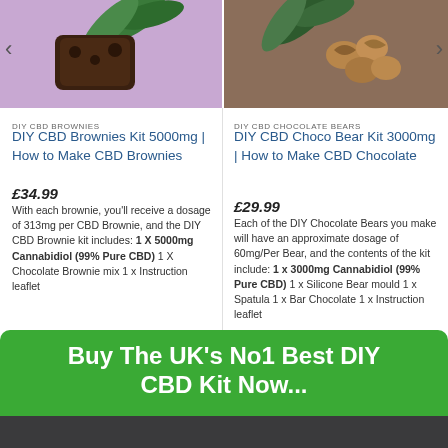[Figure (photo): Photo of CBD brownie with purple background and hemp leaf]
[Figure (photo): Photo of CBD chocolate bears/walnuts with brown background and hemp leaf]
DIY CBD BROWNIES
DIY CBD Brownies Kit 5000mg | How to Make CBD Brownies
£34.99
With each brownie, you'll receive a dosage of 313mg per CBD Brownie, and the DIY CBD Brownie kit includes: 1 X 5000mg Cannabidiol (99% Pure CBD) 1 X Chocolate Brownie mix 1 x Instruction leaflet
DIY CBD CHOCOLATE BEARS
DIY CBD Choco Bear Kit 3000mg | How to Make CBD Chocolate
£29.99
Each of the DIY Chocolate Bears you make will have an approximate dosage of 60mg/Per Bear, and the contents of the kit include: 1 x 3000mg Cannabidiol (99% Pure CBD) 1 x Silicone Bear mould 1 x Spatula 1 x Bar Chocolate 1 x Instruction leaflet
Buy The UK's No1 Best DIY CBD Kit Now...